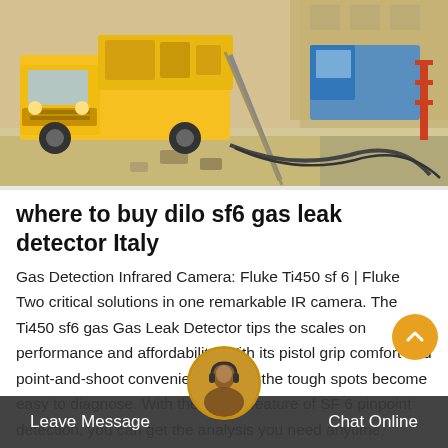[Figure (photo): Yellow utility/service truck parked on a street with cables/hoses running from it, appears to be an SF6 gas service vehicle. A second truck or equipment visible in background. Roadside industrial setting.]
where to buy dilo sf6 gas leak detector Italy
Gas Detection Infrared Camera: Fluke Ti450 sf 6 | Fluke Two critical solutions in one remarkable IR camera. The Ti450 sf6 gas Gas Leak Detector tips the scales on performance and affordability. With its pistol grip comfort and point-and-shoot convenience, even the tough spots become easy to diagnose. With the added feature of SF 6 pinpoint detection, you can get the analysis you need anytime, anywhere.